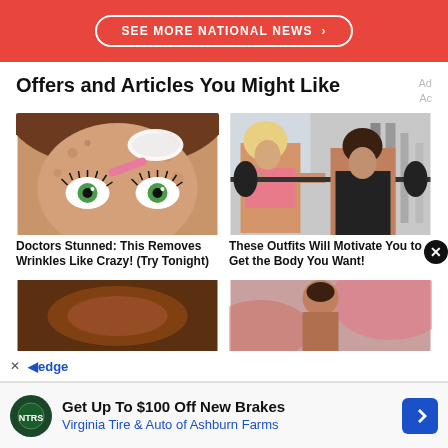[Figure (screenshot): Red banner with white rounded button 'SEE MORE NATIONAL NEWS >']
Offers and Articles You Might Like
[Figure (illustration): Illustrated cartoon face with green eyes and anti-wrinkle treatment]
[Figure (photo): Two women lifting barbells in a gym]
Doctors Stunned: This Removes Wrinkles Like Crazy! (Try Tonight)
These Outfits Will Motivate You to Get the Body You Want!
[Figure (photo): Partial photo of food item (bottom left card)]
[Figure (photo): Partial photo of a woman outdoors (bottom right card)]
Get Up To $100 Off New Brakes
Virginia Tire & Auto of Ashburn Farms